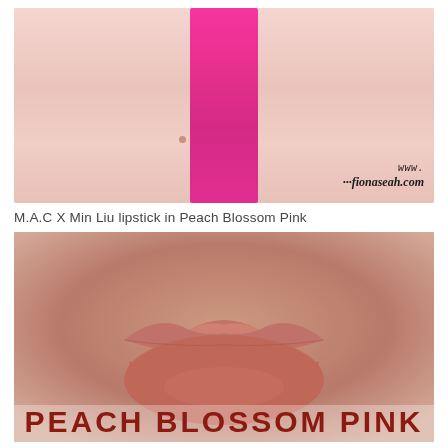[Figure (photo): Arm swatch of a bright hot pink lipstick on pale skin, with watermark www.fionaseah.com in bottom right corner]
M.A.C X Min Liu lipstick in Peach Blossom Pink
[Figure (photo): Close-up of lips wearing MAC lipstick in Peach Blossom Pink, with MAC logo in top left and 'PEACH BLOSSOM PINK' text at bottom]